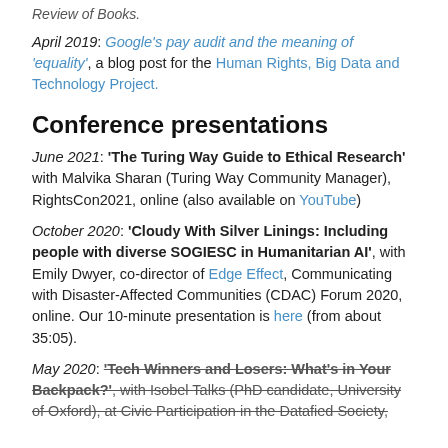Review of Books.
April 2019: Google's pay audit and the meaning of 'equality', a blog post for the Human Rights, Big Data and Technology Project.
Conference presentations
June 2021: 'The Turing Way Guide to Ethical Research' with Malvika Sharan (Turing Way Community Manager), RightsCon2021, online (also available on YouTube)
October 2020: 'Cloudy With Silver Linings: Including people with diverse SOGIESC in Humanitarian AI', with Emily Dwyer, co-director of Edge Effect, Communicating with Disaster-Affected Communities (CDAC) Forum 2020, online. Our 10-minute presentation is here (from about 35:05).
May 2020: 'Tech Winners and Losers: What's in Your Backpack?', with Isobel Talks (PhD candidate, University of Oxford), at Civic Participation in the Datafied Society,